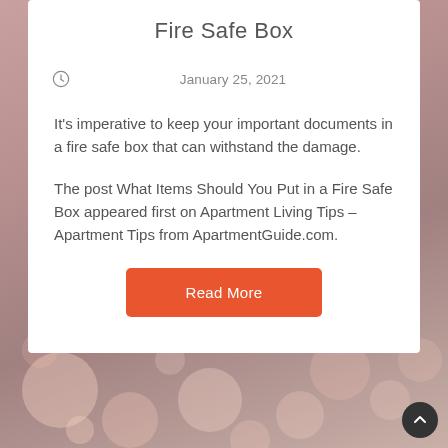Fire Safe Box
January 25, 2021
It's imperative to keep your important documents in a fire safe box that can withstand the damage.
The post What Items Should You Put in a Fire Safe Box appeared first on Apartment Living Tips – Apartment Tips from ApartmentGuide.com.
Read More